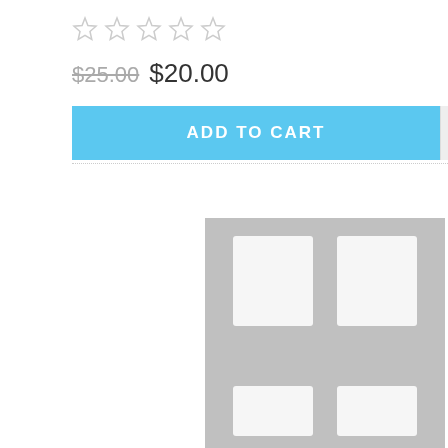[Figure (other): Five empty star rating icons in a row]
$25.00  $20.00
ADD TO CART
[Figure (illustration): Grey placeholder book cover image with an open book logo icon in the center]